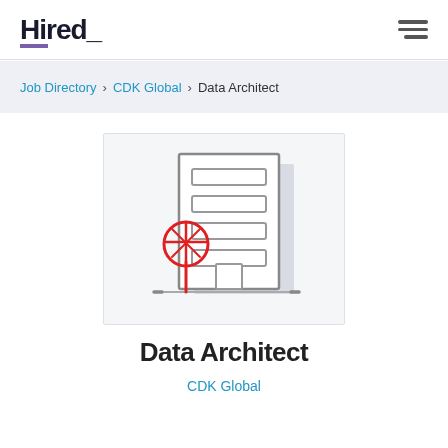Hired_
Job Directory > CDK Global > Data Architect
[Figure (illustration): Line-art illustration of an office building with windows and a door, and a red circle tree icon in front, on a light gray background]
Data Architect
CDK Global